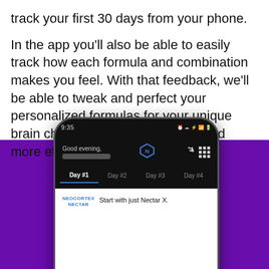track your first 30 days from your phone.
In the app you'll also be able to easily track how each formula and combination makes you feel. With that feedback, we'll be able to tweak and perfect your personalized formulas for your unique brain chemistry to become more and more effective for you each mon…
[Figure (screenshot): Smartphone displaying the Neocortex Nectar app. The app shows a dark-themed screen with header 'Good evening,' and username blurred. Navigation tabs show Day #1 (active), Day #2, Day #3, Day #4. Content area shows NEOCORTEX NECTAR label in blue, 'Start with just Nectar X.' text, and instructions starting with 'Mix the Nectar powder with 24 oz of water. Drink it right away. Six then at a next 3 h...'. Purple background behind the phone.]